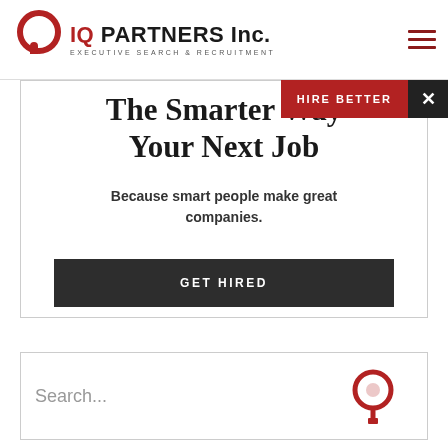[Figure (logo): IQ Partners Inc. logo — circular Q mark in dark red with small square, beside bold text 'IQ PARTNERS Inc.' and subtext 'EXECUTIVE SEARCH & RECRUITMENT']
The Smarter Way Your Next Job
Because smart people make great companies.
GET HIRED
Search...